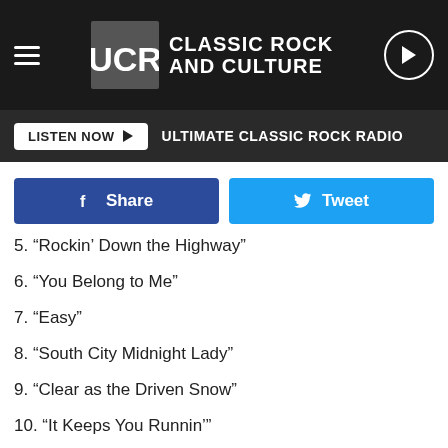UCR Classic Rock and Culture
LISTEN NOW ▶  ULTIMATE CLASSIC ROCK RADIO
f Share  🐦 Tweet
5. “Rockin’ Down the Highway”
6. “You Belong to Me”
7. “Easy”
8. “South City Midnight Lady”
9. “Clear as the Driven Snow”
10. “It Keeps You Runnin’”
11. “Eyes of Silver”
12. “Better Days”
13. “Don’t Ya Mess With Me”
14. “Real Love”
15. “World Gone Crazy”